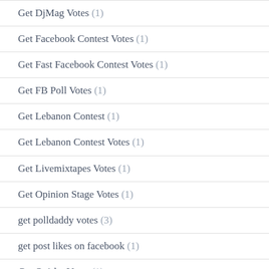Get DjMag Votes (1)
Get Facebook Contest Votes (1)
Get Fast Facebook Contest Votes (1)
Get FB Poll Votes (1)
Get Lebanon Contest (1)
Get Lebanon Contest Votes (1)
Get Livemixtapes Votes (1)
Get Opinion Stage Votes (1)
get polldaddy votes (3)
get post likes on facebook (1)
Get Quirky Votes (1)
Get SecondStreetApp Votes (1)